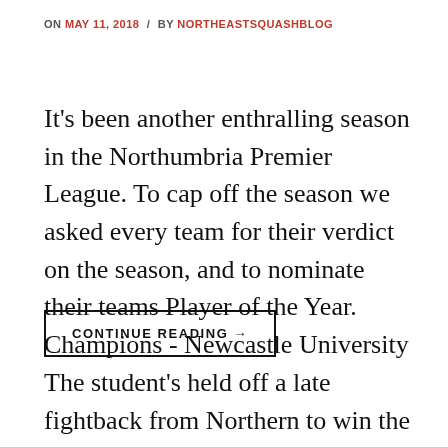ON MAY 11, 2018 / BY NORTHEASTSQUASHBLOG
It's been another enthralling season in the Northumbria Premier League. To cap off the season we asked every team for their verdict on the season, and to nominate their teams Player of the Year. Champions - Newcastle University The student's held off a late fightback from Northern to win the league by 12 points. Verdict …
CONTINUE READING →